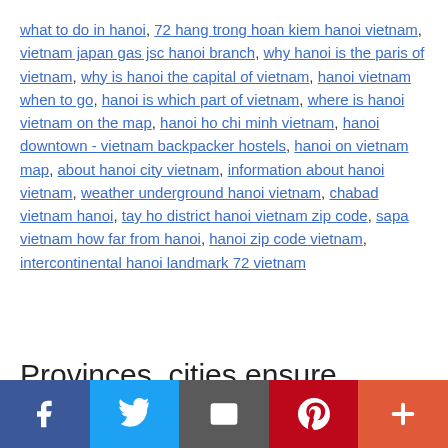what to do in hanoi, 72 hang trong hoan kiem hanoi vietnam, vietnam japan gas jsc hanoi branch, why hanoi is the paris of vietnam, why is hanoi the capital of vietnam, hanoi vietnam when to go, hanoi is which part of vietnam, where is hanoi vietnam on the map, hanoi ho chi minh vietnam, hanoi downtown - vietnam backpacker hostels, hanoi on vietnam map, about hanoi city vietnam, information about hanoi vietnam, weather underground hanoi vietnam, chabad vietnam hanoi, tay ho district hanoi vietnam zip code, sapa vietnam how far from hanoi, hanoi zip code vietnam, intercontinental hanoi landmark 72 vietnam
Provinces, cities ensure
[Figure (infographic): Social sharing bar with Facebook, Twitter, Email, Pinterest, and More (+) buttons]